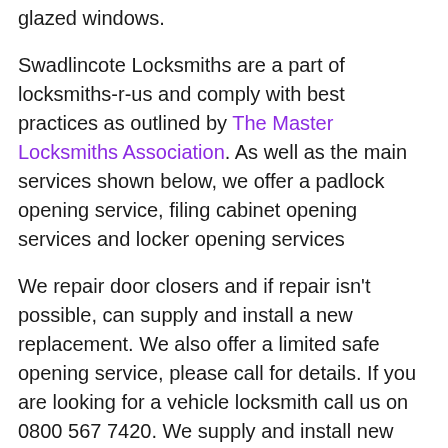glazed windows.
Swadlincote Locksmiths are a part of locksmiths-r-us and comply with best practices as outlined by The Master Locksmiths Association. As well as the main services shown below, we offer a padlock opening service, filing cabinet opening services and locker opening services
We repair door closers and if repair isn’t possible, can supply and install a new replacement. We also offer a limited safe opening service, please call for details. If you are looking for a vehicle locksmith call us on 0800 567 7420. We supply and install new customer made security grilles and bars.
Finally, If you are moving home, why not give us a call end ask about our home mover offer, where we offer a package price to replace the locks to your new home and whilst there we will carry out a free